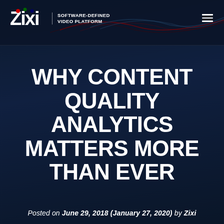[Figure (logo): Zixi logo with stylized Z/Xi lettering in white with colored dots, alongside 'SOFTWARE-DEFINED VIDEO PLATFORM' tagline, and a hamburger menu icon on the right, set against a dark navy header with decorative wave lines]
WHY CONTENT QUALITY ANALYTICS MATTERS MORE THAN EVER
Posted on June 29, 2018 (January 27, 2020) by Zixi